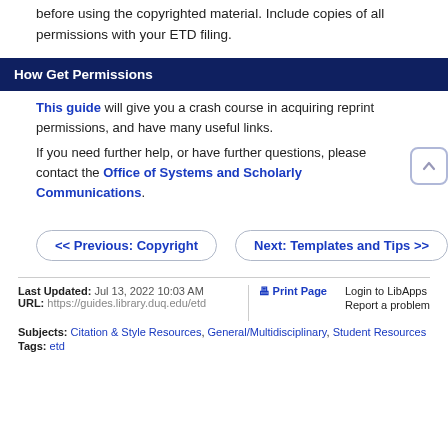before using the copyrighted material. Include copies of all permissions with your ETD filing.
How Get Permissions
This guide will give you a crash course in acquiring reprint permissions, and have many useful links.
If you need further help, or have further questions, please contact the Office of Systems and Scholarly Communications.
<< Previous: Copyright
Next: Templates and Tips >>
Last Updated: Jul 13, 2022 10:03 AM | URL: https://guides.library.duq.edu/etd | Print Page | Login to LibApps | Report a problem | Subjects: Citation & Style Resources, General/Multidisciplinary, Student Resources | Tags: etd